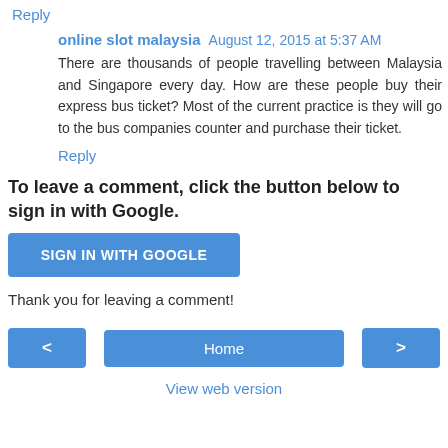Reply
online slot malaysia  August 12, 2015 at 5:37 AM
There are thousands of people travelling between Malaysia and Singapore every day. How are these people buy their express bus ticket? Most of the current practice is they will go to the bus companies counter and purchase their ticket.
Reply
To leave a comment, click the button below to sign in with Google.
SIGN IN WITH GOOGLE
Thank you for leaving a comment!
< | Home | >
View web version